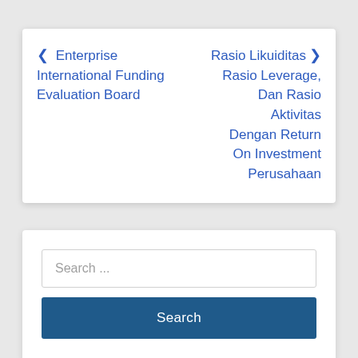< Enterprise International Funding Evaluation Board
Rasio Likuiditas > Rasio Leverage, Dan Rasio Aktivitas Dengan Return On Investment Perusahaan
Search ...
Search